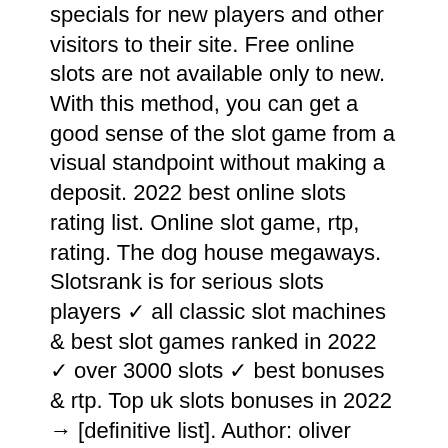specials for new players and other visitors to their site. Free online slots are not available only to new. With this method, you can get a good sense of the slot game from a visual standpoint without making a deposit. 2022 best online slots rating list. Online slot game, rtp, rating. The dog house megaways. Slotsrank is for serious slots players ✓ all classic slot machines &amp; best slot games ranked in 2022 ✓ over 3000 slots ✓ best bonuses &amp; rtp. Top uk slots bonuses in 2022 → [definitive list]. Author: oliver keegan updated: april 6, 2022. Hard rock (great welcome bonus) · borgata (abundance of progressive jackpot slots) · 888casino (best. Play the best online slots and popular casino games for free or real money, and read through our up to date guide on the top slot machine sites. Slots empire: best for free spins · super slots: best for slots variety · big spin casino: best for new
Then, when you're ready to deposit,